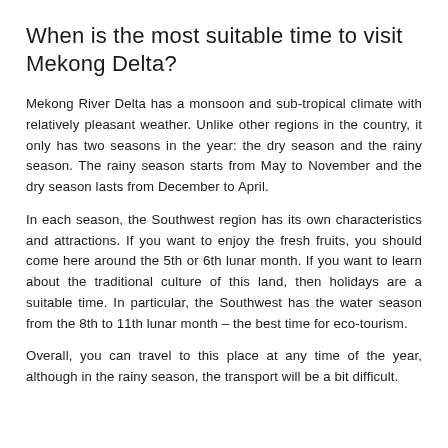When is the most suitable time to visit Mekong Delta?
Mekong River Delta has a monsoon and sub-tropical climate with relatively pleasant weather. Unlike other regions in the country, it only has two seasons in the year: the dry season and the rainy season. The rainy season starts from May to November and the dry season lasts from December to April.
In each season, the Southwest region has its own characteristics and attractions. If you want to enjoy the fresh fruits, you should come here around the 5th or 6th lunar month. If you want to learn about the traditional culture of this land, then holidays are a suitable time. In particular, the Southwest has the water season from the 8th to 11th lunar month – the best time for eco-tourism.
Overall, you can travel to this place at any time of the year, although in the rainy season, the transport will be a bit difficult.